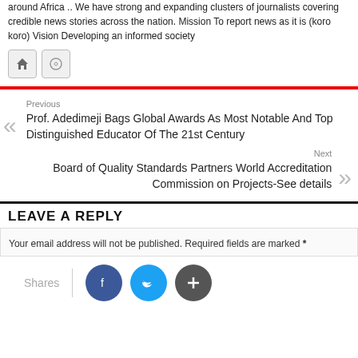around Africa .. We have strong and expanding clusters of journalists covering credible news stories across the nation. Mission To report news as it is (koro koro) Vision Developing an informed society
[Figure (other): Two icon buttons: a home icon and a circular/globe icon]
Previous
Prof. Adedimeji Bags Global Awards As Most Notable And Top Distinguished Educator Of The 21st Century
Next
Board of Quality Standards Partners World Accreditation Commission on Projects-See details
LEAVE A REPLY
Your email address will not be published. Required fields are marked *
Shares